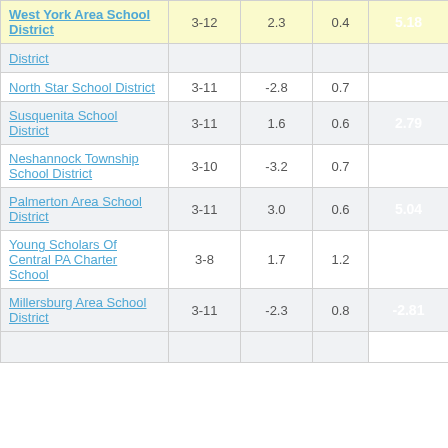| School District | Grades | Col3 | Col4 | Score |
| --- | --- | --- | --- | --- |
| West York Area School District | 3-12 | 2.3 | 0.4 | 5.18 |
| District |  |  |  |  |
| North Star School District | 3-11 | -2.8 | 0.7 | -3.98 |
| Susquenita School District | 3-11 | 1.6 | 0.6 | 2.79 |
| Neshannock Township School District | 3-10 | -3.2 | 0.7 | -4.79 |
| Palmerton Area School District | 3-11 | 3.0 | 0.6 | 5.04 |
| Young Scholars Of Central PA Charter School | 3-8 | 1.7 | 1.2 | 1.43 |
| Millersburg Area School District | 3-11 | -2.3 | 0.8 | -2.81 |
| (last row partial) |  |  |  |  |